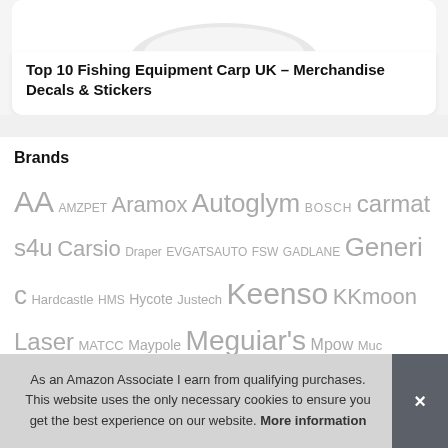[Figure (photo): Partial image of a white object (likely fishing/product image) cut off at top]
Top 10 Fishing Equipment Carp UK – Merchandise Decals & Stickers
Brands
AA AMZPET Aramox Autoglym BOSCH carmats4u Carsio Draper EVGATSAUTO FSW GADLANE Generic Hardcastle HMS Hycote Justech Keenso KKmoon Laser MATCC Maypole Meguiar's Mpow Muc Off na NC Oasser Onco Osram Philips Qiilu Ring Automotive Sakura Sealey Silverline Sin... Vipa...
As an Amazon Associate I earn from qualifying purchases. This website uses the only necessary cookies to ensure you get the best experience on our website. More information